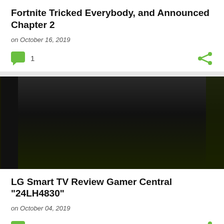Fortnite Tricked Everybody, and Announced Chapter 2
on October 16, 2019
[Figure (illustration): Comment bubble icon (green) with count 1, and share icon (green) on the right]
[Figure (photo): Dark/black image, possibly a TV or game screen, gradient from dark gray to black]
LG Smart TV Review Gamer Central "24LH4830"
on October 04, 2019
[Figure (illustration): Comment bubble icon (green) with count 2, and share icon (green) on the right]